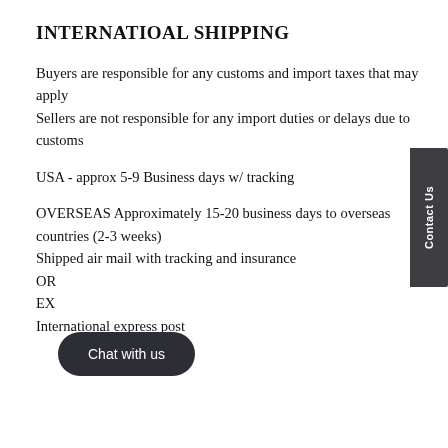INTERNATIOAL SHIPPING
Buyers are responsible for any customs and import taxes that may apply
Sellers are not responsible for any import duties or delays due to customs
USA - approx 5-9 Business days w/ tracking
OVERSEAS Approximately 15-20 business days to overseas countries (2-3 weeks)
Shipped air mail with tracking and insurance
OR
EX
International express post